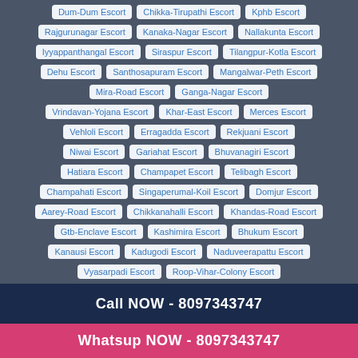Dum-Dum Escort
Chikka-Tirupathi Escort
Kphb Escort
Rajgurunagar Escort
Kanaka-Nagar Escort
Nallakunta Escort
Iyyappanthangal Escort
Siraspur Escort
Tilangpur-Kotla Escort
Dehu Escort
Santhosapuram Escort
Mangalwar-Peth Escort
Mira-Road Escort
Ganga-Nagar Escort
Vrindavan-Yojana Escort
Khar-East Escort
Merces Escort
Vehloli Escort
Erragadda Escort
Rekjuani Escort
Niwai Escort
Gariahat Escort
Bhuvanagiri Escort
Hatiara Escort
Champapet Escort
Telibagh Escort
Champahati Escort
Singaperumal-Koil Escort
Domjur Escort
Aarey-Road Escort
Chikkanahalli Escort
Khandas-Road Escort
Gtb-Enclave Escort
Kashimira Escort
Bhukum Escort
Kanausi Escort
Kadugodi Escort
Naduveerapattu Escort
Vyasarpadi Escort
Roop-Vihar-Colony Escort
Call NOW - 8097343747
Whatsup NOW - 8097343747